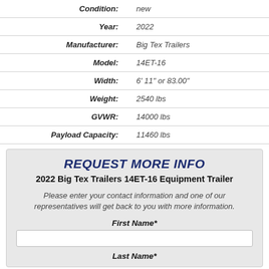| Label | Value |
| --- | --- |
| Condition: | new |
| Year: | 2022 |
| Manufacturer: | Big Tex Trailers |
| Model: | 14ET-16 |
| Width: | 6' 11" or 83.00" |
| Weight: | 2540 lbs |
| GVWR: | 14000 lbs |
| Payload Capacity: | 11460 lbs |
REQUEST MORE INFO
2022 Big Tex Trailers 14ET-16 Equipment Trailer
Please enter your contact information and one of our representatives will get back to you with more information.
First Name*
Last Name*